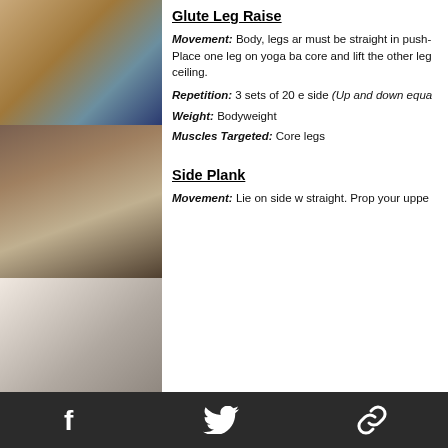[Figure (photo): Person in push-up position with one leg on a yoga/stability ball in a gym setting]
[Figure (photo): Person doing a side plank with one arm raised holding a weight in a gym setting]
[Figure (photo): Person doing a side plank exercise on a mat]
Glute Leg Raise
Movement: Body, legs and must be straight in push- Place one leg on yoga bal core and lift the other leg ceiling.
Repetition: 3 sets of 20 e side (Up and down equa
Weight: Bodyweight
Muscles Targeted: Core legs
Side Plank
Movement: Lie on side w straight. Prop your uppe